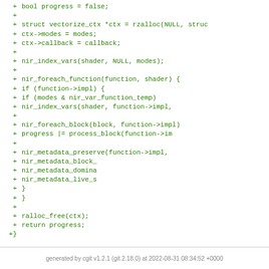[Figure (screenshot): Code diff showing added lines of C code for a vectorize_vars shader function, with green '+' markers on each line]
generated by cgit v1.2.1 (git 2.18.0) at 2022-08-31 08:34:52 +0000